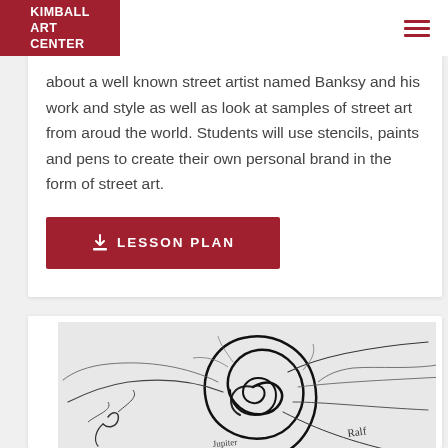KIMBALL ART CENTER
about a well known street artist named Banksy and his work and style as well as look at samples of street art from aroud the world. Students will use stencils, paints and pens to create their own personal brand in the form of street art.
LESSON PLAN
[Figure (illustration): A black charcoal or pencil sketch of a spiral swirl with radiating lines, on white paper, with a handwritten signature.]